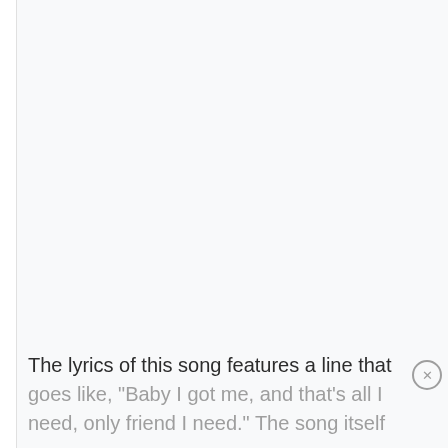The lyrics of this song features a line that goes like, "Baby I got me, and that's all I need, only friend I need." The song itself